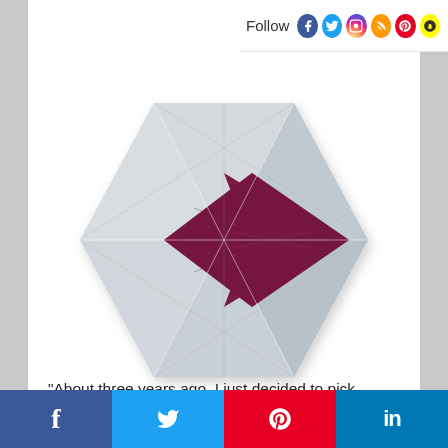Follow
[Figure (illustration): A hexagonal wooden art piece with light gray/blue triangular segments and a central diamond shape in deep purple/maroon wood, showing wood grain texture. The hexagon is composed of multiple triangular panels meeting at the center.]
"About three years ago, I just decided to pick two shapes, a square and a hexagon," he
Social share bar with Facebook, Twitter, Pinterest, LinkedIn icons